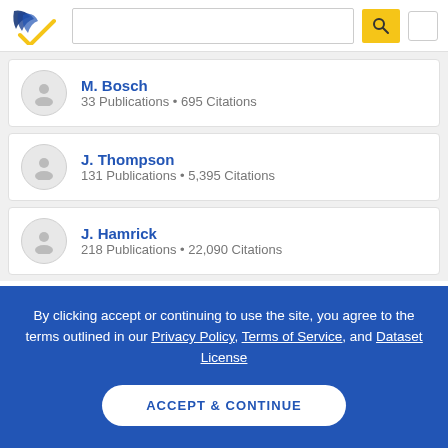Semantic Scholar — search header with logo and search box
M. Bosch
33 Publications • 695 Citations
J. Thompson
131 Publications • 5,395 Citations
J. Hamrick
218 Publications • 22,090 Citations
Stay Connected With Semantic Scholar
By clicking accept or continuing to use the site, you agree to the terms outlined in our Privacy Policy, Terms of Service, and Dataset License
ACCEPT & CONTINUE